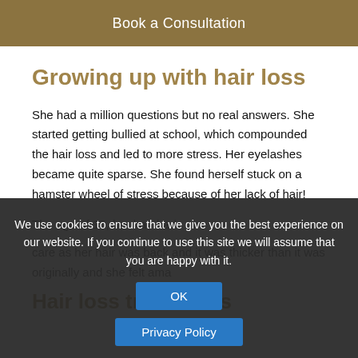Book a Consultation
Growing up with hair loss
She had a million questions but no real answers. She started getting bullied at school, which compounded the hair loss and led to more stress. Her eyelashes became quite sparse. She found herself stuck on a hamster wheel of stress because of her lack of hair!
The age of 15, her hair had... care as her hair was back and it was thicker than it was originally and she felt ama...
Hair loss treatments
We use cookies to ensure that we give you the best experience on our website. If you continue to use this site we will assume that you are happy with it.